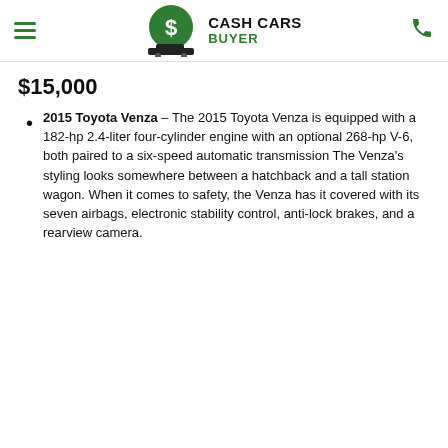Cash Cars Buyer
$15,000
2015 Toyota Venza – The 2015 Toyota Venza is equipped with a 182-hp 2.4-liter four-cylinder engine with an optional 268-hp V-6, both paired to a six-speed automatic transmission The Venza's styling looks somewhere between a hatchback and a tall station wagon. When it comes to safety, the Venza has it covered with its seven airbags, electronic stability control, anti-lock brakes, and a rearview camera.